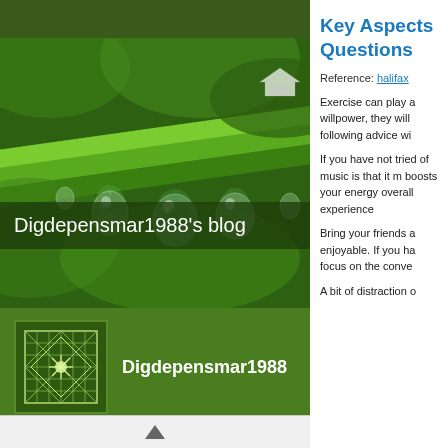[Figure (photo): Close-up photo of green plant stem with water droplets hanging from it, blurred green bokeh background]
Digdepensmar1988's blog
[Figure (illustration): Square avatar with geometric diamond/grid pattern in white lines on dark green background]
Digdepensmar1988
1 FOLLOWING
0 FOLLOWERS
Follow
Key Aspects Questions
Reference: halifax
Exercise can play a willpower, they will following advice wi
If you have not tried of music is that it m boosts your energy overall experience
Bring your friends a enjoyable. If you ha focus on the conve
A bit of distraction o